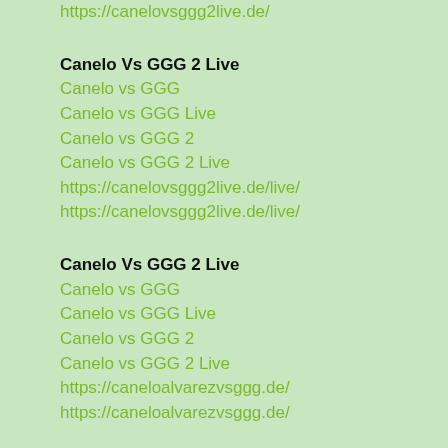https://canelovsggg2live.de/
Canelo Vs GGG 2 Live
Canelo vs GGG
Canelo vs GGG Live
Canelo vs GGG 2
Canelo vs GGG 2 Live
https://canelovsggg2live.de/live/
https://canelovsggg2live.de/live/
Canelo Vs GGG 2 Live
Canelo vs GGG
Canelo vs GGG Live
Canelo vs GGG 2
Canelo vs GGG 2 Live
https://caneloalvarezvsggg.de/
https://caneloalvarezvsggg.de/
Canelo Vs GGG 2 Live
Canelo vs GGG
Canelo vs GGG Live
Canelo vs GGG 2
Canelo vs GGG 2 Live